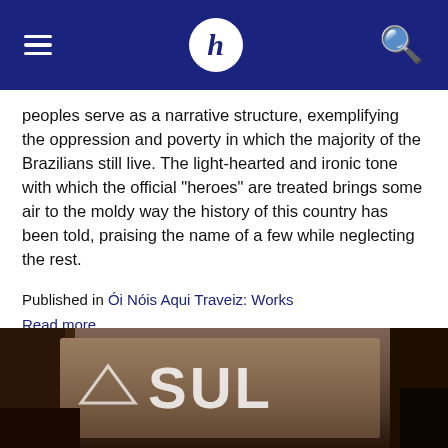h
peoples serve as a narrative structure, exemplifying the oppression and poverty in which the majority of the Brazilians still live. The light-hearted and ironic tone with which the official "heroes" are treated brings some air to the moldy way the history of this country has been told, praising the name of a few while neglecting the rest.
Published in Ói Nóis Aqui Traveiz: Works
Read more...
Wednesday, 15 September 2010 19:57
A história do homem que lutou sem conhecer seu grande inimigo (1988)
[Figure (photo): Blurry photo of a building exterior with signage reading 'SULAM' or similar text, dark tones]